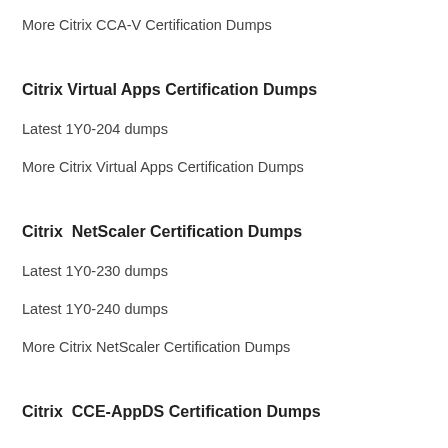More Citrix CCA-V Certification Dumps
Citrix Virtual Apps Certification Dumps
Latest 1Y0-204 dumps
More Citrix Virtual Apps Certification Dumps
Citrix  NetScaler Certification Dumps
Latest 1Y0-230 dumps
Latest 1Y0-240 dumps
More Citrix NetScaler Certification Dumps
Citrix  CCE-AppDS Certification Dumps